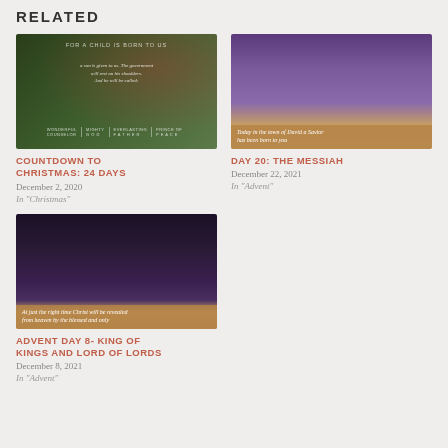RELATED
[Figure (photo): Christmas themed image with holly berries and dark green foliage with text overlay about Isaiah 9:6 - Wonderful Counselor, Mighty God, Everlasting Father, Prince of Peace]
COUNTDOWN TO CHRISTMAS: 24 DAYS
December 2, 2020
In "Christmas"
[Figure (photo): Nativity manger scene with golden hay in warm light with text overlay: Today in the town of David a Savior has been born to you]
DAY 20: THE MESSIAH
December 22, 2021
In "Advent"
[Figure (photo): Person reading Bible by candlelight with warm amber light, with text overlay: At just the right time Christ will be revealed from heaven by the blessed and only]
ADVENT DAY 8- KING OF KINGS AND LORD OF LORDS
December 8, 2021
In "Advent"